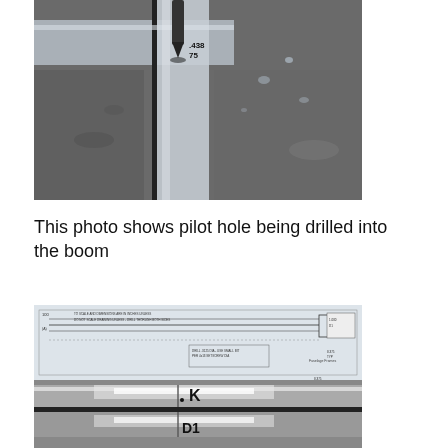[Figure (photo): Close-up photo of a drill bit drilling a pilot hole into a metal boom/channel. The metal surface has markings '.438 75' visible. Coolant or water droplets are visible on the metal surface.]
This photo shows pilot hole being drilled into the boom
[Figure (photo): Composite image showing an engineering/technical drawing (blueprint schematic of boom with dimensions and drill notes) on top, and below it a photo of two metal tubes/booms side by side with markings 'K' and 'D1' visible.]